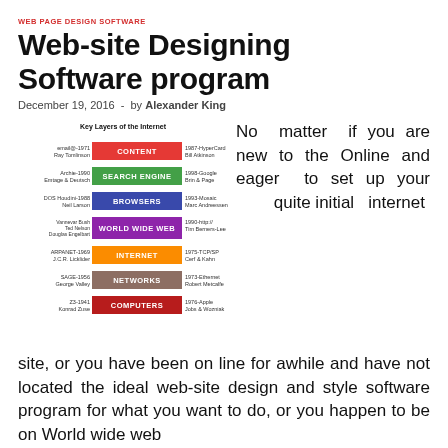WEB PAGE DESIGN SOFTWARE
Web-site Designing Software program
December 19, 2016  -  by Alexander King
[Figure (infographic): Key Layers of the Internet diagram showing layered colored bars: CONTENT (red, email-1971 Ray Tomlinson / 1987-HyperCard Bill Atkinson), SEARCH ENGINE (green, Archie-1990 Emtage & Deutsch / 1998-Google Brin & Page), BROWSERS (blue, DOS Houdini-1988 Neil Larson / 1993-Mosaic Marc Andreessen), WORLD WIDE WEB (purple, Vannevar Bush Ted Nelson Douglas Engelbart / 1990-http:// Tim Berners-Lee), INTERNET (orange, ARPANET-1969 J.C.R. Licklider / 1975-TCP/SP Cerf & Kahn), NETWORKS (brown, SAGE-1956 George Valley / 1973-Ethernet Robert Metcalfe), COMPUTERS (dark red, Z3-1941 Konrad Zuse / 1976-Apple Jobs & Wozniak)]
No matter if you are new to the Online and eager to set up your quite initial internet site, or you have been on line for awhile and have not located the ideal web-site design and style software program for what you want to do, or you happen to be on World wide web